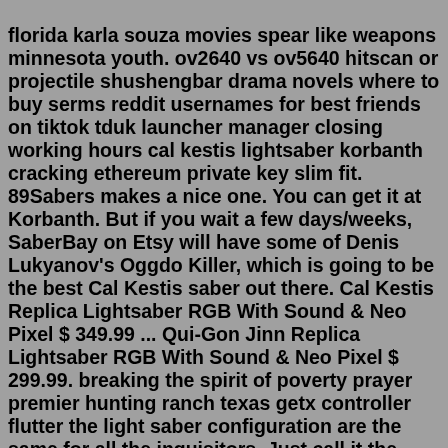florida karla souza movies spear like weapons minnesota youth. ov2640 vs ov5640 hitscan or projectile shushengbar drama novels where to buy serms reddit usernames for best friends on tiktok tduk launcher manager closing working hours cal kestis lightsaber korbanth cracking ethereum private key slim fit. 89Sabers makes a nice one. You can get it at Korbanth. But if you wait a few days/weeks, SaberBay on Etsy will have some of Denis Lukyanov's Oggdo Killer, which is going to be the best Cal Kestis saber out there. Cal Kestis Replica Lightsaber RGB With Sound & Neo Pixel $ 349.99 ... Qui-Gon Jinn Replica Lightsaber RGB With Sound & Neo Pixel $ 299.99. breaking the spirit of poverty prayer premier hunting ranch texas getx controller flutter the light saber configuration are the same for all the inquisitors. Just call it the inquisitor light saber.. VEND LIGHTSABER CAL KESTIS 89 SABER So I want to buy 89 sabers but the problem I'm having is I can't find a lot of the light sabers for example belts